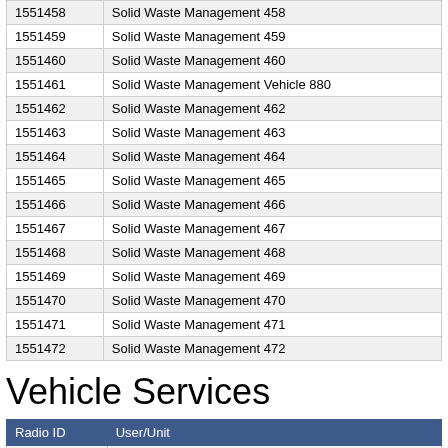| Radio ID | User/Unit |
| --- | --- |
| 1551458 | Solid Waste Management 458 |
| 1551459 | Solid Waste Management 459 |
| 1551460 | Solid Waste Management 460 |
| 1551461 | Solid Waste Management Vehicle 880 |
| 1551462 | Solid Waste Management 462 |
| 1551463 | Solid Waste Management 463 |
| 1551464 | Solid Waste Management 464 |
| 1551465 | Solid Waste Management 465 |
| 1551466 | Solid Waste Management 466 |
| 1551467 | Solid Waste Management 467 |
| 1551468 | Solid Waste Management 468 |
| 1551469 | Solid Waste Management 469 |
| 1551470 | Solid Waste Management 470 |
| 1551471 | Solid Waste Management 471 |
| 1551472 | Solid Waste Management 472 |
Vehicle Services
| Radio ID | User/Unit |
| --- | --- |
| 1551601 | Vehicle Services 601 |
| 1551602 | Vehicle Services 602 (Vehicle #???) |
| 1551603 | Vehicle Services 603 (Vehicle #???) |
| 1551604 | Vehicle Services 604 |
| 1551605 | Vehicle Services 605 (Vehicle#???) |